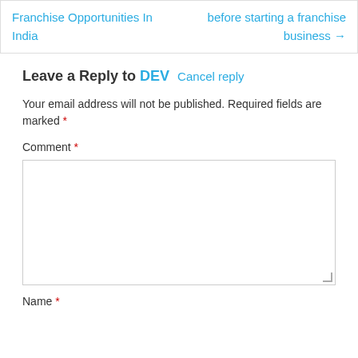Franchise Opportunities In India
before starting a franchise business →
Leave a Reply to DEV  Cancel reply
Your email address will not be published. Required fields are marked *
Comment *
Name *